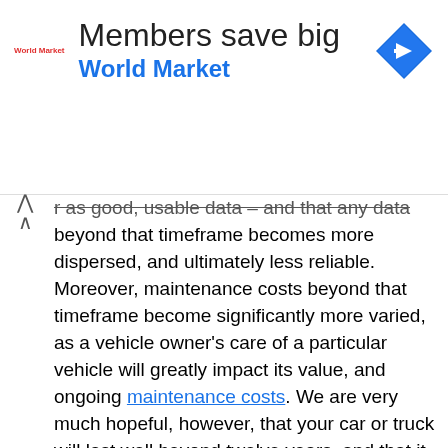[Figure (other): Advertisement banner for World Market with logo, title 'Members save big', subtitle 'World Market', and a blue diamond navigation icon on the right]
r as good, usable data – and that any data beyond that timeframe becomes more dispersed, and ultimately less reliable. Moreover, maintenance costs beyond that timeframe become significantly more varied, as a vehicle owner's care of a particular vehicle will greatly impact its value, and ongoing maintenance costs. We are very much hopeful, however, that your car or truck will last well beyond twelve years, and that it gets you to where you want to go.
We aggregate and analyze millions of automotive data points from a variety of the industry's leading data providers. The insights and information on this page represent the overall averages of the combined costs of vehicle ownership. This